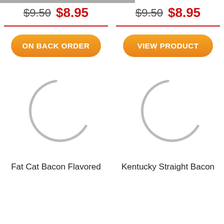$9.50 $8.95 (left column, original and sale price)
$9.50 $8.95 (right column, original and sale price)
ON BACK ORDER
VIEW PRODUCT
[Figure (illustration): Loading spinner arc (partial circle, grey) for Fat Cat Bacon Flavored product]
[Figure (illustration): Loading spinner arc (partial circle, grey) for Kentucky Straight Bacon product]
Fat Cat Bacon Flavored
Kentucky Straight Bacon